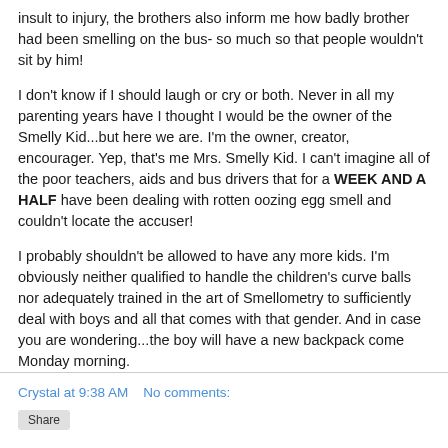insult to injury, the brothers also inform me how badly brother had been smelling on the bus- so much so that people wouldn't sit by him!
I don't know if I should laugh or cry or both. Never in all my parenting years have I thought I would be the owner of the Smelly Kid...but here we are. I'm the owner, creator, encourager. Yep, that's me Mrs. Smelly Kid. I can't imagine all of the poor teachers, aids and bus drivers that for a WEEK AND A HALF have been dealing with rotten oozing egg smell and couldn't locate the accuser!
I probably shouldn't be allowed to have any more kids. I'm obviously neither qualified to handle the children's curve balls nor adequately trained in the art of Smellometry to sufficiently deal with boys and all that comes with that gender. And in case you are wondering...the boy will have a new backpack come Monday morning.
Crystal at 9:38 AM   No comments: